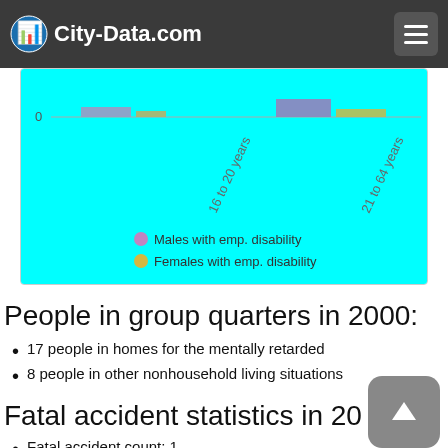City-Data.com
[Figure (bar-chart): Partial bar chart showing employment disability data by age group (16 to 20 years, 21 to 64 years). Legend shows Males with emp. disability (purple) and Females with emp. disability (yellow). Chart background is cyan.]
People in group quarters in 2000:
17 people in homes for the mentally retarded
8 people in other nonhousehold living situations
Fatal accident statistics in 2004
Fatal accident count: 1
Vehicles involved in fatal accidents: 1